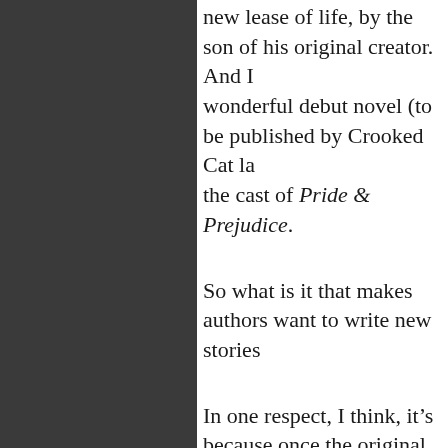new lease of life, by the son of his original creator.  And I wonderful debut novel (to be published by Crooked Cat la the cast of Pride & Prejudice.
So what is it that makes authors want to write new stories
In one respect, I think, it’s because once the original autho that there will be no more from the same pen. So if the au not give their fans more to enjoy, in the form of sequels, p
You don’t need to be a famous, or even a published, autho device. Using a well-loved character (or set of characters) excellent way of dealing with an attack of writer’s block. play, or even a poem. Imagine what it might be like to me say to them? How do you think they would respond? Try you, and see where it leads. You may well find that it give writing is ever wasted, even if it doesn’t end up in the fina
Or think about how the character behaves in the original w might have happened in the past to affect their actions in